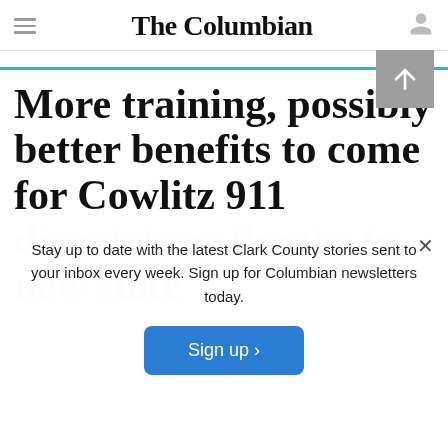The Columbian
More training, possibly better benefits to come for Cowlitz 911 dispatchers thanks to new state law
Stay up to date with the latest Clark County stories sent to your inbox every week. Sign up for Columbian newsletters today.